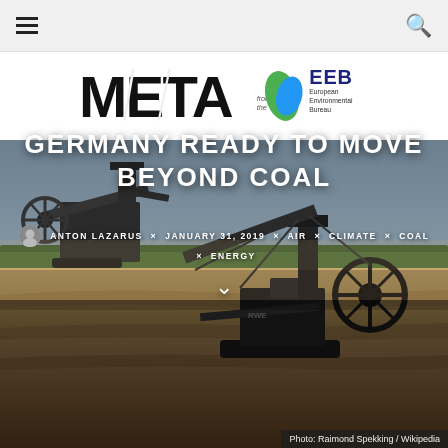Navigation bar with hamburger menu and search icon
[Figure (logo): META from the EEB (European Environmental Bureau) logo — bold stylized META text with leaf/globe icon and EEB text]
[Figure (photo): Aerial photo of a large open-pit coal mine with massive bucket-wheel excavator machinery, flat terrain, trees in background under overcast sky]
GERMANY READY TO MOVE BEYOND COAL
ANTON LAZARUS × JANUARY 31, 2019 × AIR × CLIMATE × COAL × ENERGY
Photo: Raimond Spekking / Wikipedia